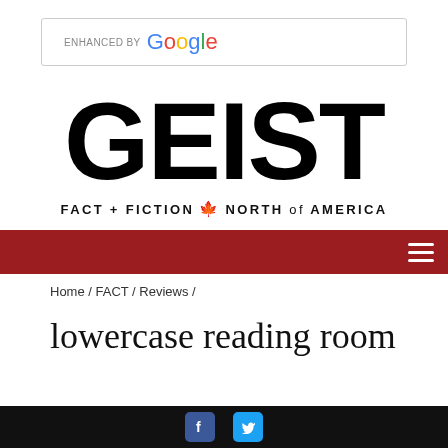[Figure (screenshot): ENHANCED BY Google search bar widget with border]
[Figure (logo): GEIST magazine logo in large bold black text with tagline FACT + FICTION NORTH of AMERICA]
[Figure (other): Dark red navigation bar with hamburger menu icon on the right]
Home / FACT / Reviews /
lowercase reading room
[Figure (other): Black bottom bar with Facebook and Twitter social media icons]